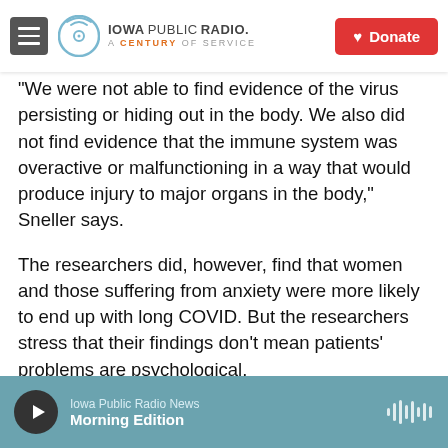Iowa Public Radio. A Century of Service. Donate
“We were not able to find evidence of the virus persisting or hiding out in the body. We also did not find evidence that the immune system was overactive or malfunctioning in a way that would produce injury to major organs in the body,” Sneller says.
The researchers did, however, find that women and those suffering from anxiety were more likely to end up with long COVID. But the researchers stress that their findings don’t mean patients’ problems are psychological.
“I clearly don’t want to send the message that this
Iowa Public Radio News | Morning Edition